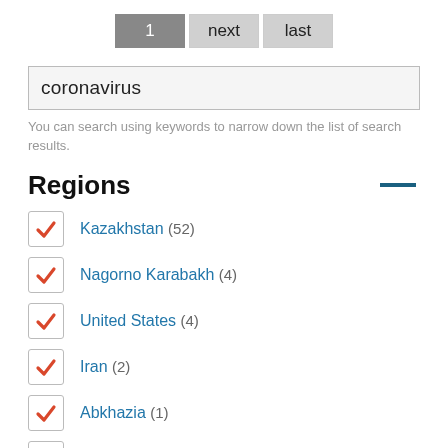1  next  last
coronavirus
You can search using keywords to narrow down the list of search results.
Regions
Kazakhstan (52)
Nagorno Karabakh (4)
United States (4)
Iran (2)
Abkhazia (1)
Turkey (1)